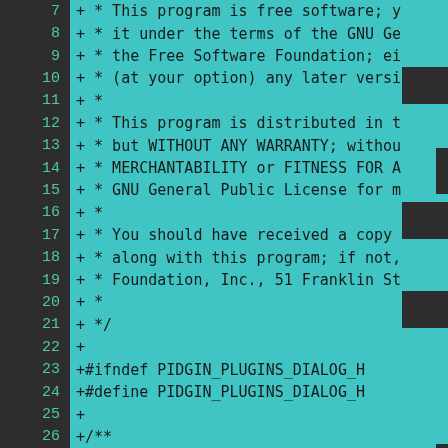[Figure (screenshot): Code diff view showing a C/C++ source file header with GPL license comment and preprocessor guards. Dark theme editor with cyan/teal background for added lines (marked with +), dark gutter with green line numbers 7-26. Lines include GPL license text and #ifndef/#define PIDGIN_PLUGINS_DIALOG_H guards.]